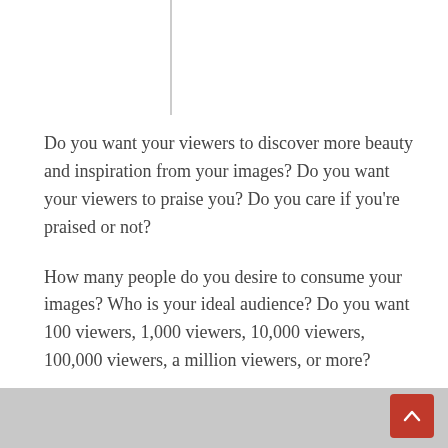Do you want your viewers to discover more beauty and inspiration from your images? Do you want your viewers to praise you? Do you care if you're praised or not?
How many people do you desire to consume your images? Who is your ideal audience? Do you want 100 viewers, 1,000 viewers, 10,000 viewers, 100,000 viewers, a million viewers, or more?
This is something you must determine for yourself.